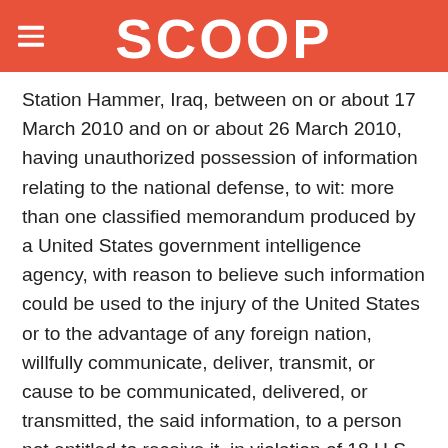SCOOP
Station Hammer, Iraq, between on or about 17 March 2010 and on or about 26 March 2010, having unauthorized possession of information relating to the national defense, to wit: more than one classified memorandum produced by a United States government intelligence agency, with reason to believe such information could be used to the injury of the United States or to the advantage of any foreign nation, willfully communicate, deliver, transmit, or cause to be communicated, delivered, or transmitted, the said information, to a person not entitled to receive it, in violation of 18 U.S. Code Section 793(e), such conduct being prejudicial to good order and discipline in the armed forces and being of a nature to bring discredit upon the armed forces. GUILTY
SPECIFICATION 4: In that Pfc. Bradley E. Manning,